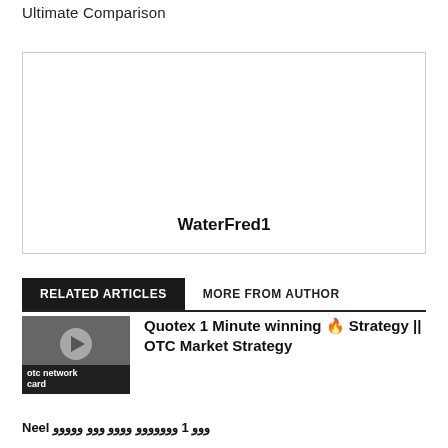Ultimate Comparison
[Figure (other): Advertisement placeholder box with the label WaterFred1 centered at the bottom]
RELATED ARTICLES   MORE FROM AUTHOR
[Figure (screenshot): Video thumbnail showing a play button over a dark background, with a label 'otc network card' in the lower portion]
Quotex 1 Minute winning 🔥 Strategy || OTC Market Strategy
Neel ووو 1 ووووووو وووو ووو ووووو